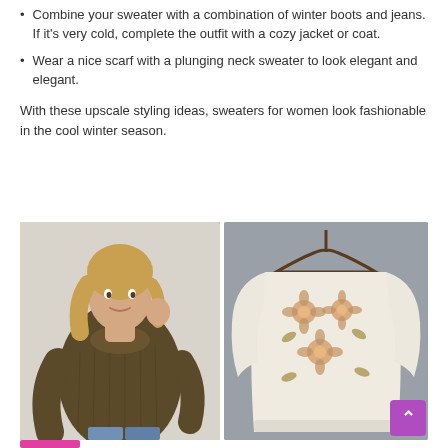Combine your sweater with a combination of winter boots and jeans. If it's very cold, complete the outfit with a cozy jacket or coat.
Wear a nice scarf with a plunging neck sweater to look elegant and elegant.
With these upscale styling ideas, sweaters for women look fashionable in the cool winter season.
[Figure (photo): Two photos of women's sweaters side by side. Left: a woman wearing an olive/brown cowl neck ribbed sweater with jeans. Right: a cream/white fluffy sweater with floral embellishments hanging on a hanger against a gray background. A purple scroll-to-top button is visible in the bottom right corner.]